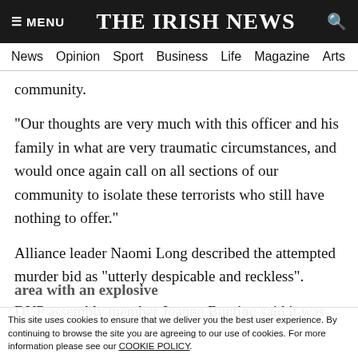≡ MENU  THE IRISH NEWS  🔍
News  Opinion  Sport  Business  Life  Magazine  Arts
community.
"Our thoughts are very much with this officer and his family in what are very traumatic circumstances, and would once again call on all sections of our community to isolate these terrorists who still have nothing to offer."
Alliance leader Naomi Long described the attempted murder bid as "utterly despicable and reckless".
DUP assembly member Joanne Bunting said it was
area with an explosive
This site uses cookies to ensure that we deliver you the best user experience. By continuing to browse the site you are agreeing to our use of cookies. For more information please see our COOKIE POLICY.